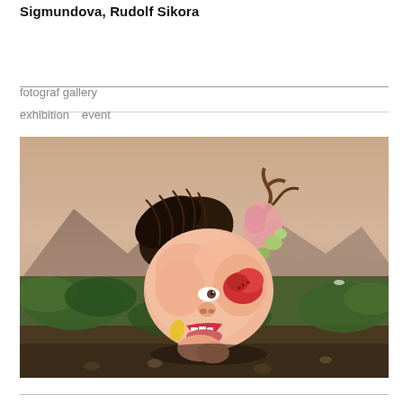Sigmundova, Rudolf Sikora
fotograf gallery
exhibition   event
[Figure (photo): Surrealist painting of a bizarre composite face/head made of fleshy organic shapes, flowers, and animal parts, set against a moody landscape with mountains and green foliage in the background.]